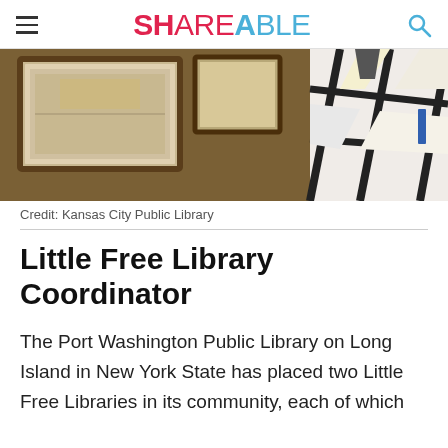Shareable
[Figure (photo): A person wearing a black-and-white geometric patterned top, standing in front of framed artwork on a wooden shelf/wall.]
Credit: Kansas City Public Library
Little Free Library Coordinator
The Port Washington Public Library on Long Island in New York State has placed two Little Free Libraries in its community, each of which